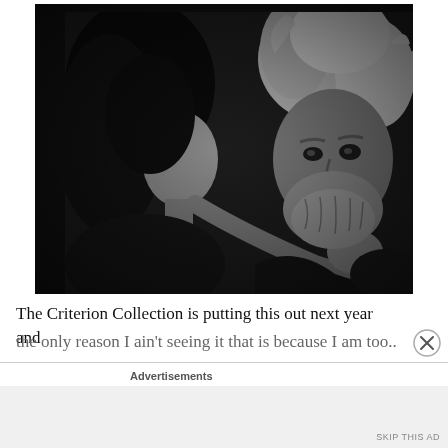[Figure (photo): Black and white photograph of a young woman with dark hair leaning in closely toward an older man with wild grey/white hair and a beard. The woman appears to be touching or cupping the man's bearded chin/face with her hand, looking at him closely. The image has a dramatic, cinematic quality.]
The Criterion Collection is putting this out next year and
the only reason I ain't seeing it that is because I am too...
Advertisements